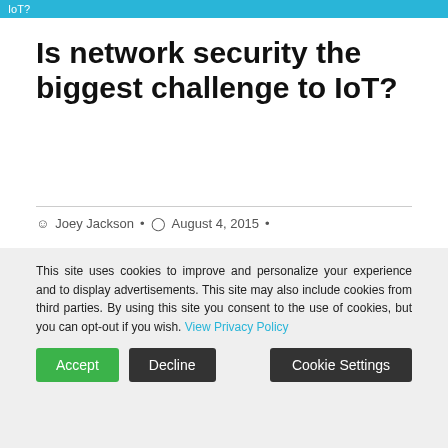IoT?
Is network security the biggest challenge to IoT?
Joey Jackson • August 4, 2015 •
[Figure (other): Share button with count 0]
[Figure (photo): A man speaking at a podium on a dark stage, wearing a light blue shirt]
This site uses cookies to improve and personalize your experience and to display advertisements. This site may also include cookies from third parties. By using this site you consent to the use of cookies, but you can opt-out if you wish. View Privacy Policy
Accept   Decline   Cookie Settings